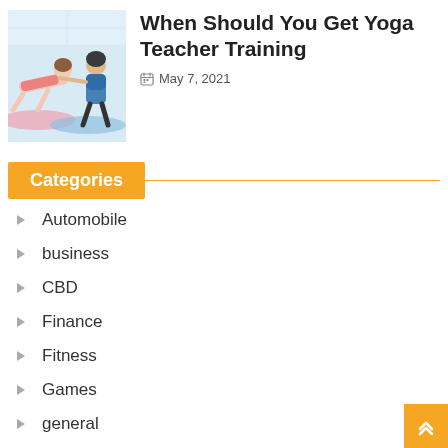[Figure (photo): Two women doing yoga poses on mats in a studio; one instructor guiding another]
When Should You Get Yoga Teacher Training
May 7, 2021
Categories
Automobile
business
CBD
Finance
Fitness
Games
general
Health